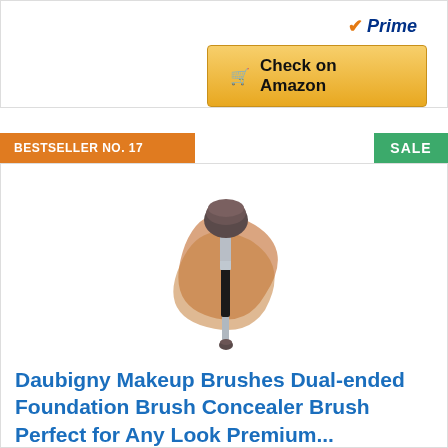[Figure (screenshot): Prime badge with orange checkmark and blue italic Prime text, and a golden 'Check on Amazon' button with cart icon]
BESTSELLER NO. 17
SALE
[Figure (photo): Makeup brush dual-ended foundation and concealer brush with foundation swirls in beige/tan color on white background]
Daubigny Makeup Brushes Dual-ended Foundation Brush Concealer Brush Perfect for Any Look Premium...
Heavenly Luxe Complexion Perfection